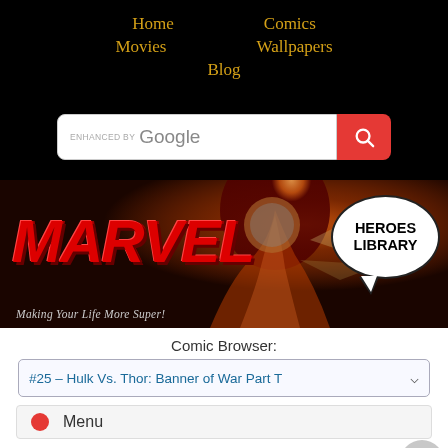Home  Comics  Movies  Wallpapers  Blog
[Figure (screenshot): Enhanced by Google search bar with red search button]
[Figure (logo): Marvel Heroes Library banner with flame background, red MARVEL logo, speech bubble with HEROES LIBRARY text, tagline Making Your Life More Super!]
Comic Browser:
#25 – Hulk Vs. Thor: Banner of War Part T
Menu
THOR #25: REVIEW